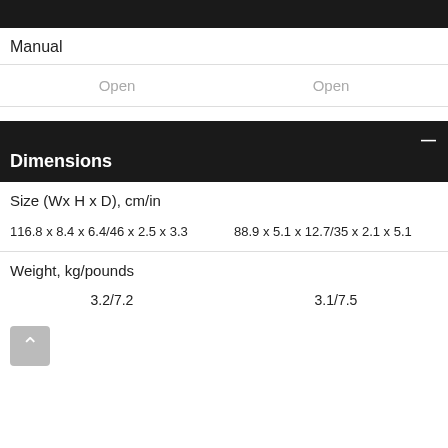Manual
Open    Open
Dimensions
Size (Wx H x D), cm/in
116.8 x 8.4 x 6.4/46 x 2.5 x 3.3    88.9 x 5.1 x 12.7/35 x 2.1 x 5.1
Weight, kg/pounds
3.2/7.2    3.1/7.5